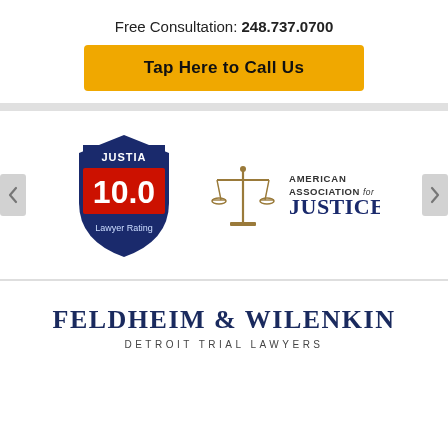Free Consultation: 248.737.0700
Tap Here to Call Us
[Figure (logo): Justia 10.0 Lawyer Rating badge - dark blue shield with red and white '10.0' and white text 'JUSTIA' at top and 'Lawyer Rating' at bottom]
[Figure (logo): American Association for Justice logo - golden scales of justice with text 'AMERICAN ASSOCIATION for JUSTICE']
FELDHEIM & WILENKIN
DETROIT TRIAL LAWYERS